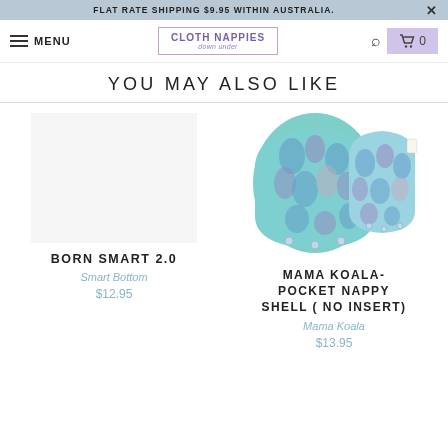FLAT RATE SHIPPING $9.95 WITHIN AUSTRALIA.
[Figure (screenshot): Website navigation bar with hamburger menu, MENU text, Cloth Nappies logo, search icon, and cart icon showing 0 items]
YOU MAY ALSO LIKE
[Figure (photo): Two colorful cloth nappies/pocket nappy shells with teal, purple and blue pattern side by side]
MAMA KOALA- POCKET NAPPY SHELL ( NO INSERT)
Mama Koala
$13.95
BORN SMART 2.0
Smart Bottom
$12.95